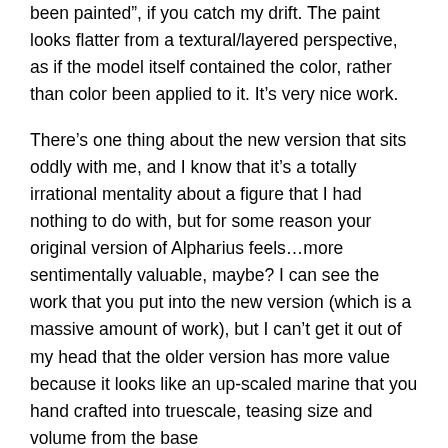been painted”, if you catch my drift. The paint looks flatter from a textural/layered perspective, as if the model itself contained the color, rather than color been applied to it. It’s very nice work.
There’s one thing about the new version that sits oddly with me, and I know that it’s a totally irrational mentality about a figure that I had nothing to do with, but for some reason your original version of Alpharius feels…more sentimentally valuable, maybe? I can see the work that you put into the new version (which is a massive amount of work), but I can’t get it out of my head that the older version has more value because it looks like an up-scaled marine that you hand crafted into truescale, teasing size and volume from the base